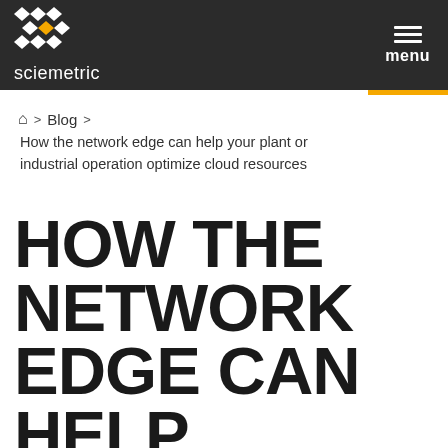sciemetric | menu
🏠 > Blog > How the network edge can help your plant or industrial operation optimize cloud resources
HOW THE NETWORK EDGE CAN HELP YOUR PLANT OR